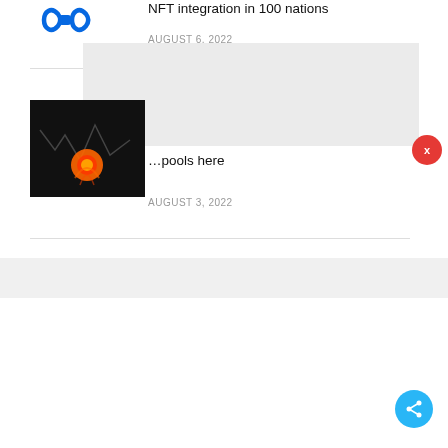[Figure (logo): Meta (formerly Facebook) blue infinity loop logo]
NFT integration in 100 nations
AUGUST 6, 2022
[Figure (photo): Bitcoin coin on fire falling against dark background with chart lines]
…pools here
AUGUST 3, 2022
EVENTS
[Figure (photo): NFTStudio24 event banner for Blockchain Economy Dubai Summit 2022 with bitcoin symbol on blue background]
NFTStudio24 to be official media partner for Blockchain Economy Dubai Summit 2022
AUGUST 19, 2022